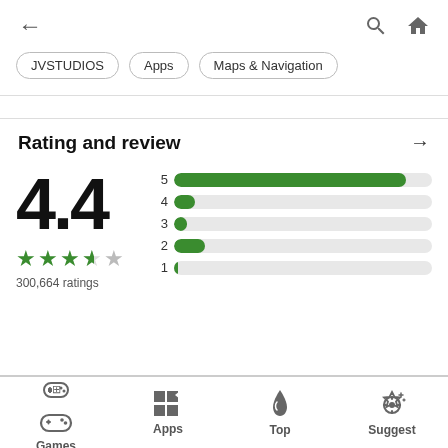← JVSTUDIOS  Apps  Maps & Navigation
Rating and review →
[Figure (bar-chart): Rating distribution]
4.4
300,664 ratings
Games  Apps  Top  Suggest